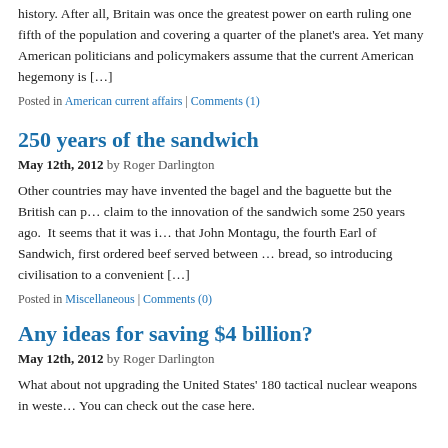history. After all, Britain was once the greatest power on earth ruling one fifth of the population and covering a quarter of the planet's area. Yet many American politicians and policymakers assume that the current American hegemony is […]
Posted in American current affairs | Comments (1)
250 years of the sandwich
May 12th, 2012 by Roger Darlington
Other countries may have invented the bagel and the baguette but the British can p… claim to the innovation of the sandwich some 250 years ago. It seems that it was i… that John Montagu, the fourth Earl of Sandwich, first ordered beef served between … bread, so introducing civilisation to a convenient […]
Posted in Miscellaneous | Comments (0)
Any ideas for saving $4 billion?
May 12th, 2012 by Roger Darlington
What about not upgrading the United States' 180 tactical nuclear weapons in weste… You can check out the case here.